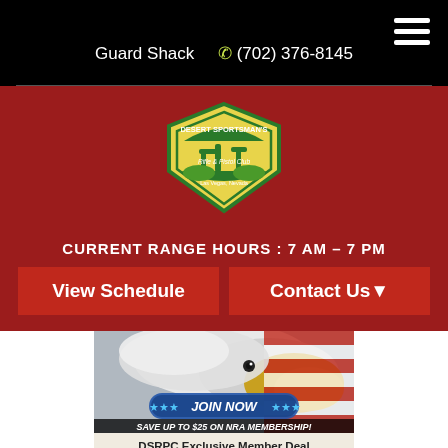Guard Shack   (702) 376-8145
[Figure (logo): Desert Sportsman's Rifle & Pistol Club shield logo with cactus, Las Vegas, Nevada]
CURRENT RANGE HOURS : 7 AM – 7 PM
View Schedule
Contact Us
[Figure (photo): Bald eagle close-up with American flag background and JOIN NOW button overlay and SAVE UP TO $25 ON NRA MEMBERSHIP! banner]
DSRPC Exclusive Member Deal
Click on the banner above and receive:
$10 off on a 1 year, $15 off on a 3 year or
$25 off on a 5 year membership or renewal